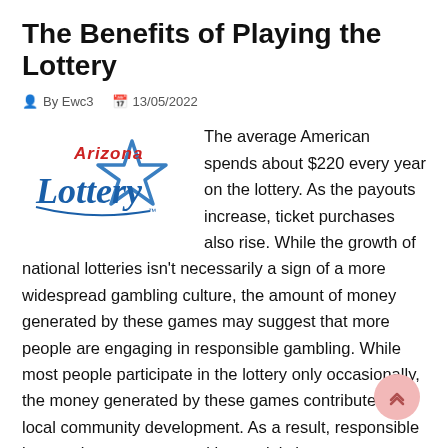The Benefits of Playing the Lottery
By Ewc3   13/05/2022
[Figure (logo): Arizona Lottery logo with blue star and script text]
The average American spends about $220 every year on the lottery. As the payouts increase, ticket purchases also rise. While the growth of national lotteries isn't necessarily a sign of a more widespread gambling culture, the amount of money generated by these games may suggest that more people are engaging in responsible gambling. While most people participate in the lottery only occasionally, the money generated by these games contributes to local community development. As a result, responsible lottery players create positive social change.